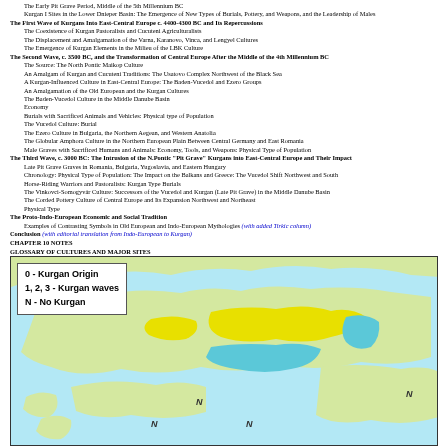The Early Pit Grave Period, Middle of the 5th Millennium BC
Kurgan I Sites in the Lower Dnieper Basin: The Emergence of New Types of Burials, Pottery, and Weapons, and the Leadership of Males
The First Wave of Kurgans Into East-Central Europe c. 4400-4300 BC and Its Repercussions
The Coexistence of Kurgan Pastoralists and Cucuteni Agriculturalists
The Displacement and Amalgamation of the Varna, Karanovo, Vinca, and Lengyel Cultures
The Emergence of Kurgan Elements in the Milieu of the LBK Culture
The Second Wave, c. 3500 BC, and the Transformation of Central Europe After the Middle of the 4th Millennium BC
The Source: The North Pontic Maikop Culture
An Amalgam of Kurgan and Cucuteni Traditions: The Usatovo Complex Northwest of the Black Sea
A Kurgan-Influenced Culture in East-Central Europe: The Baden-Vucedol and Ezero Groups
An Amalgamation of the Old European and the Kurgan Cultures
The Baden-Vucedol Culture in the Middle Danube Basin
Economy
Burials with Sacrificed Animals and Vehicles: Physical type of Population
The Vucedol Culture: Burial
The Ezero Culture in Bulgaria, the Northern Aegean, and Western Anatolia
The Globular Amphora Culture in the Northern European Plain Between Central Germany and East Romania
Male Graves with Sacrificed Humans and Animals: Economy, Tools, and Weapons: Physical Type of Population
The Third Wave, c. 3000 BC: The Intrusion of the N.Pontic "Pit Grave" Kurgans into East-Central Europe and Their Impact
Late Pit Grave Graves in Romania, Bulgaria, Yugoslavia, and Eastern Hungary
Chronology: Physical Type of Population: The Impact on the Balkans and Greece: The Vucedol Shift Northwest and South
Horse-Riding Warriors and Pastoralists: Kurgan Type Burials
The Vinkovci-Somogyvár Culture: Successors of the Vucedol and Kurgan (Late Pit Grave) in the Middle Danube Basin
The Corded Pottery Culture of Central Europe and Its Expansion Northwest and Northeast
Physical Type
The Proto-Indo-European Economic and Social Tradition
Examples of Contrasting Symbols in Old European and Indo-European Mythologies (with added Tirkic column)
Conclusion (with editorial translation from Indo-European to Kurgan)
CHAPTER 10 NOTES
GLOSSARY OF CULTURES AND MAJOR SITES
[Figure (map): Map showing Kurgan origin and wave regions (0, 1, 2, 3, N) over Eastern Europe and surrounding areas. Legend: 0 - Kurgan Origin, 1, 2, 3 - Kurgan waves, N - No Kurgan. Map shows coastlines, water bodies, and colored regions in yellow and teal/cyan.]